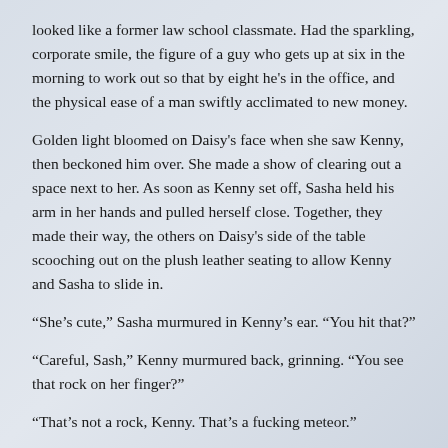looked like a former law school classmate. Had the sparkling, corporate smile, the figure of a guy who gets up at six in the morning to work out so that by eight he's in the office, and the physical ease of a man swiftly acclimated to new money.
Golden light bloomed on Daisy's face when she saw Kenny, then beckoned him over. She made a show of clearing out a space next to her. As soon as Kenny set off, Sasha held his arm in her hands and pulled herself close. Together, they made their way, the others on Daisy's side of the table scooching out on the plush leather seating to allow Kenny and Sasha to slide in.
“She’s cute,” Sasha murmured in Kenny’s ear. “You hit that?”
“Careful, Sash,” Kenny murmured back, grinning. “You see that rock on her finger?”
“That’s not a rock, Kenny. That’s a fucking meteor.”
“You’re drooling, Sash.”
“Hi!” said Sasha, reaching over Kenny with her left hand and catching Daisy’s. “Sasha. I work with Kenny.”